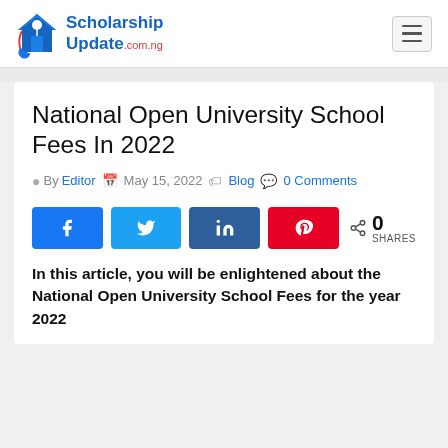Scholarship Update .com.ng
National Open University School Fees In 2022
By Editor  May 15, 2022  Blog  0 Comments
[Figure (infographic): Social share buttons: Facebook, Twitter, LinkedIn, Pinterest, and a share count showing 0 SHARES]
In this article, you will be enlightened about the National Open University School Fees for the year 2022